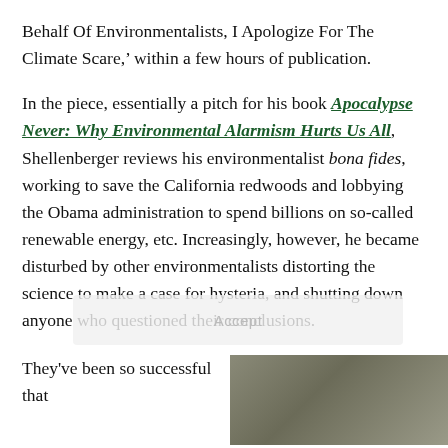Behalf Of Environmentalists, I Apologize For The Climate Scare,' within a few hours of publication.
In the piece, essentially a pitch for his book Apocalypse Never: Why Environmental Alarmism Hurts Us All, Shellenberger reviews his environmentalist bona fides, working to save the California redwoods and lobbying the Obama administration to spend billions on so-called renewable energy, etc. Increasingly, however, he became disturbed by other environmentalists distorting the science to make a case for hysteria, and shutting down anyone who questioned their conclusions.
They've been so successful that
[Figure (photo): Partial photo of a person, visible from roughly the shoulders up, appearing in the bottom right of the page]